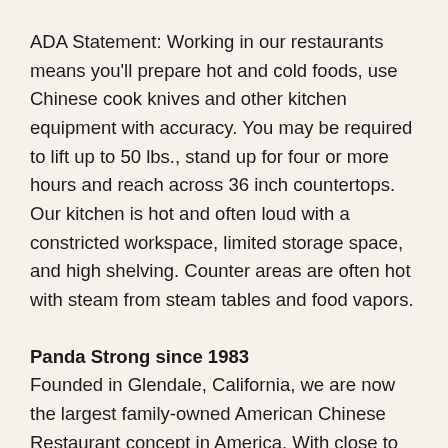ADA Statement: Working in our restaurants means you'll prepare hot and cold foods, use Chinese cook knives and other kitchen equipment with accuracy. You may be required to lift up to 50 lbs., stand up for four or more hours and reach across 36 inch countertops. Our kitchen is hot and often loud with a constricted workspace, limited storage space, and high shelving. Counter areas are often hot with steam from steam tables and food vapors.
Panda Strong since 1983
Founded in Glendale, California, we are now the largest family-owned American Chinese Restaurant concept in America. With close to 2,000 locations globally, we continue our mission of delivering exceptional Asian dining experiences...